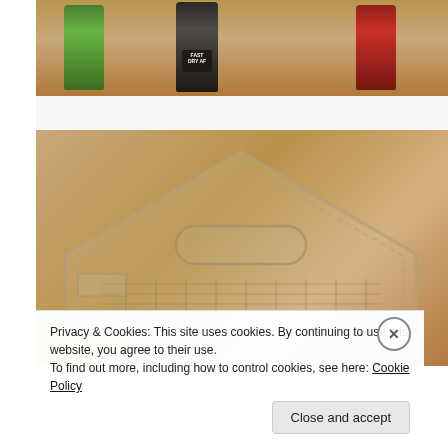[Figure (photo): Top portion of a photo showing three nail polish bottles on a wooden surface — green glitter, black Fast Dry AF brand, and red glitter bottles.]
[Figure (photo): Photo of a clear acrylic quilting or sewing template/ruler shaped like a house/triangle, placed on a wooden surface.]
Privacy & Cookies: This site uses cookies. By continuing to use this website, you agree to their use.
To find out more, including how to control cookies, see here: Cookie Policy
Close and accept